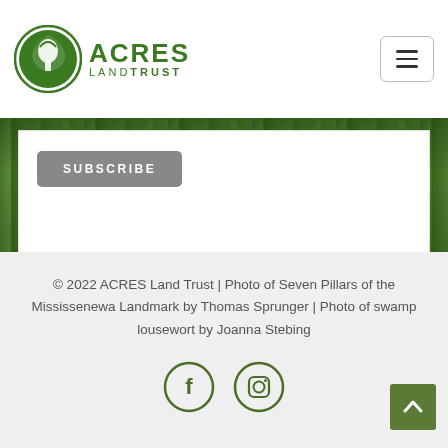[Figure (logo): ACRES Land Trust circular green logo with acorn icon and text ACRES LAND TRUST]
[Figure (screenshot): Hamburger menu button (three horizontal lines) in white rounded rectangle border]
[Figure (screenshot): White form box with gray SUBSCRIBE button]
[Figure (photo): Green forest background with vertical tree trunk texture]
© 2022 ACRES Land Trust | Photo of Seven Pillars of the Mississenewa Landmark by Thomas Sprunger | Photo of swamp lousewort by Joanna Stebing
[Figure (illustration): Facebook and Instagram social media icons in dark green circle outlines]
[Figure (screenshot): Dark green scroll-to-top button with upward chevron arrow]